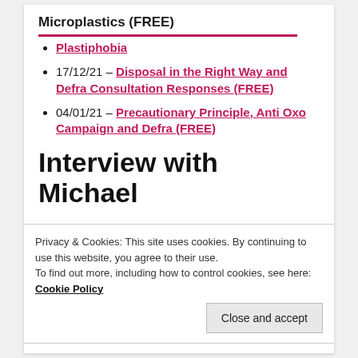Microplastics (FREE)
Plastiphobia
17/12/21 – Disposal in the Right Way and Defra Consultation Responses (FREE)
04/01/21 – Precautionary Principle, Anti Oxo Campaign and Defra (FREE)
Interview with Michael
Privacy & Cookies: This site uses cookies. By continuing to use this website, you agree to their use.
To find out more, including how to control cookies, see here: Cookie Policy
Close and accept
Disclaimer